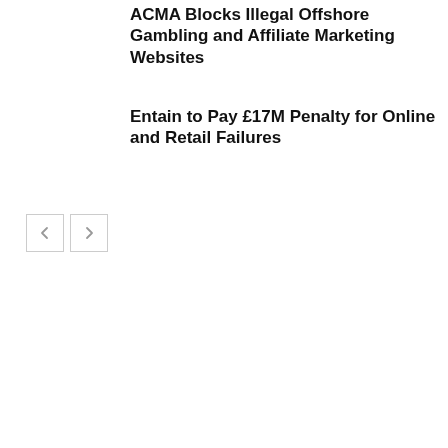ACMA Blocks Illegal Offshore Gambling and Affiliate Marketing Websites
Entain to Pay £17M Penalty for Online and Retail Failures
[Figure (other): Navigation previous and next arrow buttons]